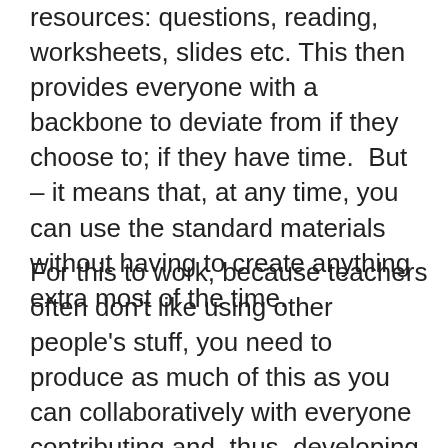resources: questions, reading, worksheets, slides etc. This then provides everyone with a backbone to deviate from if they choose to; if they have time.  But – it means that, at any time, you can use the standard materials without having to create anything extra most of the time.
For this to work, because teachers often don't like using other people's stuff, you need to produce as much of this as you can collaboratively with everyone contributing and, thus, developing important curriculum design